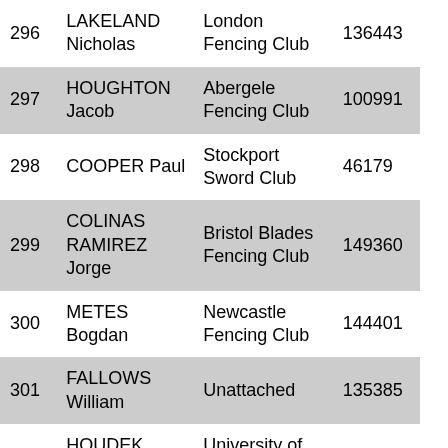| # | Name | Club | ID |
| --- | --- | --- | --- |
| 296 | LAKELAND Nicholas | London Fencing Club | 136443 |
| 297 | HOUGHTON Jacob | Abergele Fencing Club | 100991 |
| 298 | COOPER Paul | Stockport Sword Club | 46179 |
| 299 | COLINAS RAMIREZ Jorge | Bristol Blades Fencing Club | 149360 |
| 300 | METES Bogdan | Newcastle Fencing Club | 144401 |
| 301 | FALLOWS William | Unattached | 135385 |
| 301 | HOUDEK Daniel | University of Liverpool | 151690 |